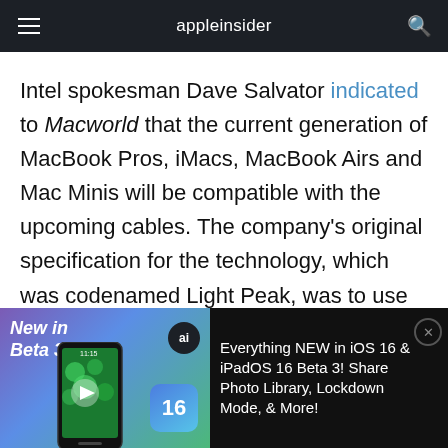appleinsider
Intel spokesman Dave Salvator indicated to Macworld that the current generation of MacBook Pros, iMacs, MacBook Airs and Mac Minis will be compatible with the upcoming cables. The company's original specification for the technology, which was codenamed Light Peak, was to use optical cables to reach speeds of 100 Gbps.
[Figure (screenshot): Advertisement banner for AppleInsider video: 'New in Beta 3!' showing a hand holding an iPhone with iOS 16 icon, alongside text: 'Everything NEW in iOS 16 & iPadOS 16 Beta 3! Share Photo Library, Lockdown Mode, & More!']